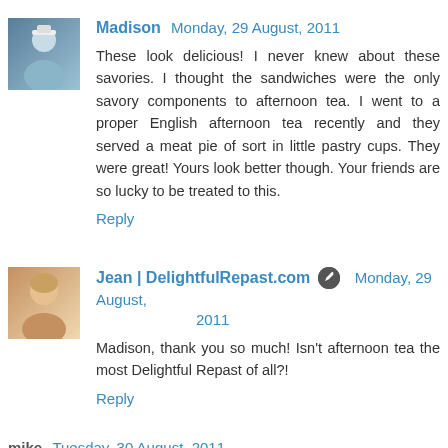Madison  Monday, 29 August, 2011
These look delicious! I never knew about these savories. I thought the sandwiches were the only savory components to afternoon tea. I went to a proper English afternoon tea recently and they served a meat pie of sort in little pastry cups. They were great! Yours look better though. Your friends are so lucky to be treated to this.
Reply
Jean | DelightfulRepast.com  Monday, 29 August, 2011
Madison, thank you so much! Isn't afternoon tea the most Delightful Repast of all?!
Reply
mike  Tuesday, 30 August, 2011
Ha! Someone mentioned that they look like scones and I